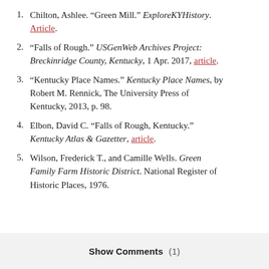1. Chilton, Ashlee. "Green Mill." ExploreKYHistory. Article.
2. "Falls of Rough." USGenWeb Archives Project: Breckinridge County, Kentucky, 1 Apr. 2017, article.
3. "Kentucky Place Names." Kentucky Place Names, by Robert M. Rennick, The University Press of Kentucky, 2013, p. 98.
4. Elbon, David C. "Falls of Rough, Kentucky." Kentucky Atlas & Gazetter, article.
5. Wilson, Frederick T., and Camille Wells. Green Family Farm Historic District. National Register of Historic Places, 1976.
Show Comments  (1)